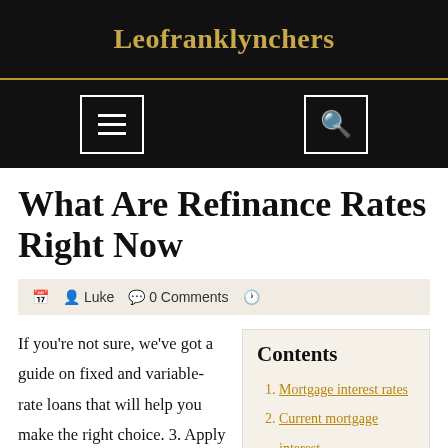Leofranklynchers
What Are Refinance Rates Right Now
Luke  0 Comments
If you're not sure, we've got a guide on fixed and variable-rate loans that will help you make the right choice. 3. Apply for the loan
Contents
Mortgage interest rates
Current mortgage interest
Monthly. interest rates
Term